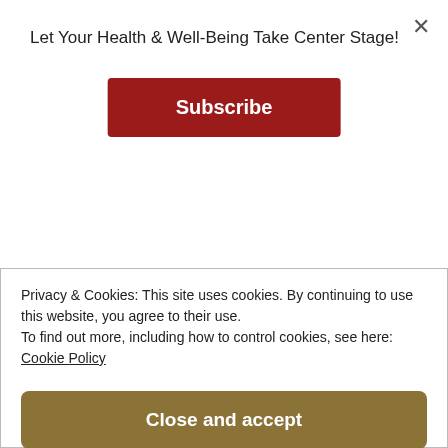Let Your Health & Well-Being Take Center Stage!
Subscribe
your listeners. But it’s just a list of all different words that are basically core values and these core values, um, really help us to cultivate our purpose, you know, knowing which direction to go create that sacred life that we love, that we’re all looking for. Um, and so I use
Privacy & Cookies: This site uses cookies. By continuing to use this website, you agree to their use.
To find out more, including how to control cookies, see here:
Cookie Policy
Close and accept